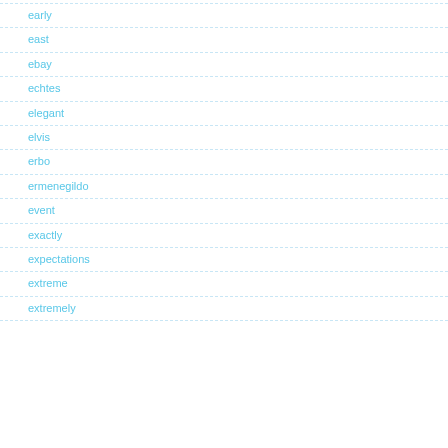early
east
ebay
echtes
elegant
elvis
erbo
ermenegildo
event
exactly
expectations
extreme
extremely